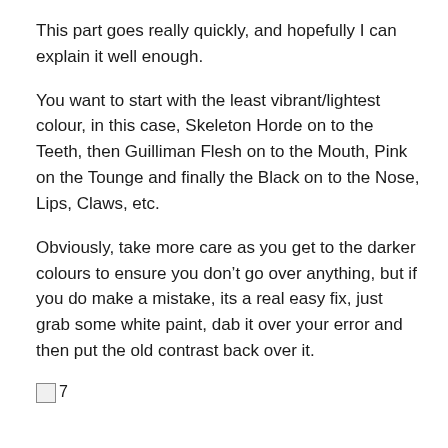This part goes really quickly, and hopefully I can explain it well enough.
You want to start with the least vibrant/lightest colour, in this case, Skeleton Horde on to the Teeth, then Guilliman Flesh on to the Mouth, Pink on the Tounge and finally the Black on to the Nose, Lips, Claws, etc.
Obviously, take more care as you get to the darker colours to ensure you don’t go over anything, but if you do make a mistake, its a real easy fix, just grab some white paint, dab it over your error and then put the old contrast back over it.
[Figure (photo): A broken/missing image placeholder labeled '7']